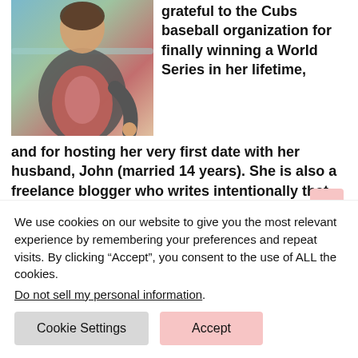[Figure (photo): A person wearing a grey/dark robe or coat over a red/pink patterned outfit, standing near a railing with a teal/blue background]
grateful to the Cubs baseball organization for finally winning a World Series in her lifetime, and for hosting her very first date with her husband, John (married 14 years). She is also a freelance blogger who writes intentionally that others may find hope in her words. You can learn
We use cookies on our website to give you the most relevant experience by remembering your preferences and repeat visits. By clicking “Accept”, you consent to the use of ALL the cookies.
Do not sell my personal information.
Cookie Settings
Accept